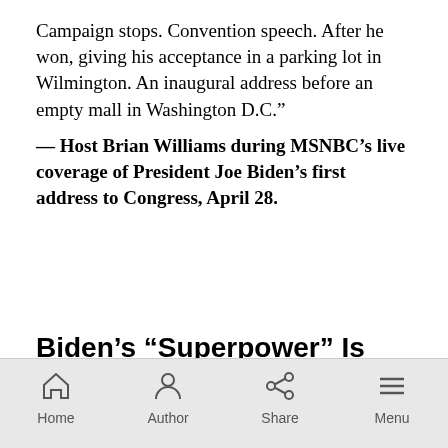Campaign stops. Convention speech. After he won, giving his acceptance in a parking lot in Wilmington. An inaugural address before an empty mall in Washington D.C."
— Host Brian Williams during MSNBC's live coverage of President Joe Biden's first address to Congress, April 28.
Biden's “Superpower” Is Making the “Progressive” Policy Sound “American as Apple Pie”
Home  Author  Share  Menu